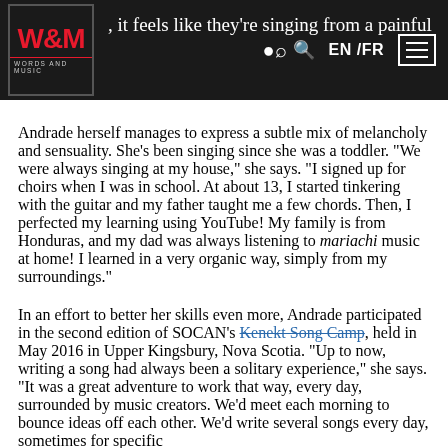W&M Words and Music — navigation bar with logo, search, EN /FR, menu
, it feels like they're singing from a painful
Andrade herself manages to express a subtle mix of melancholy and sensuality. She's been singing since she was a toddler. "We were always singing at my house," she says. "I signed up for choirs when I was in school. At about 13, I started tinkering with the guitar and my father taught me a few chords. Then, I perfected my learning using YouTube! My family is from Honduras, and my dad was always listening to mariachi music at home! I learned in a very organic way, simply from my surroundings."
In an effort to better her skills even more, Andrade participated in the second edition of SOCAN's Kenekt Song Camp, held in May 2016 in Upper Kingsbury, Nova Scotia. "Up to now, writing a song had always been a solitary experience," she says. "It was a great adventure to work that way, every day, surrounded by music creators. We'd meet each morning to bounce ideas off each other. We'd write several songs every day, sometimes for specific